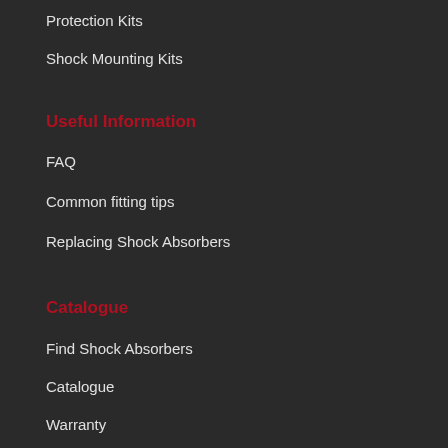Protection Kits
Shock Mounting Kits
Useful Information
FAQ
Common fitting tips
Replacing Shock Absorbers
Catalogue
Find Shock Absorbers
Catalogue
Warranty